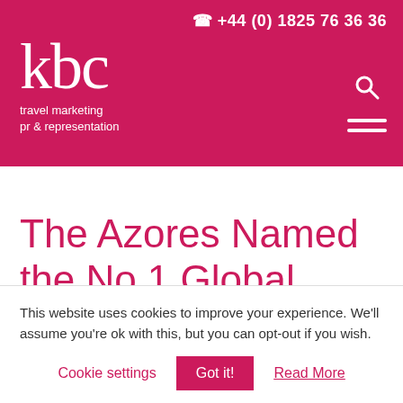kbc travel marketing pr & representation | +44 (0) 1825 76 36 36
The Azores Named the No.1 Global
This website uses cookies to improve your experience. We'll assume you're ok with this, but you can opt-out if you wish.
Cookie settings | Got it! | Read More